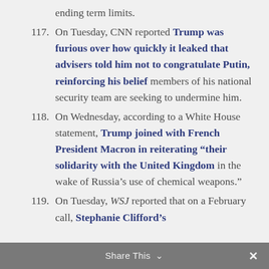ending term limits.
117. On Tuesday, CNN reported Trump was furious over how quickly it leaked that advisers told him not to congratulate Putin, reinforcing his belief members of his national security team are seeking to undermine him.
118. On Wednesday, according to a White House statement, Trump joined with French President Macron in reiterating "their solidarity with the United Kingdom in the wake of Russia's use of chemical weapons."
119. On Tuesday, WSJ reported that on a February call, Stephanie Clifford's
Share This ×